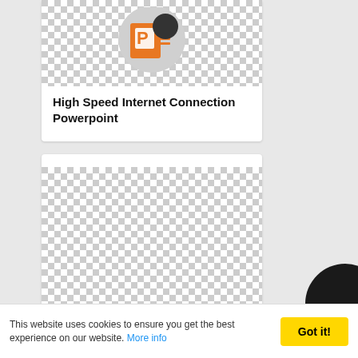[Figure (screenshot): PowerPoint icon with orange P logo on circular grey background, over checkerboard transparent background]
High Speed Internet Connection Powerpoint
[Figure (screenshot): Checkerboard transparent background placeholder image for second card]
This website uses cookies to ensure you get the best experience on our website. More info
Got it!